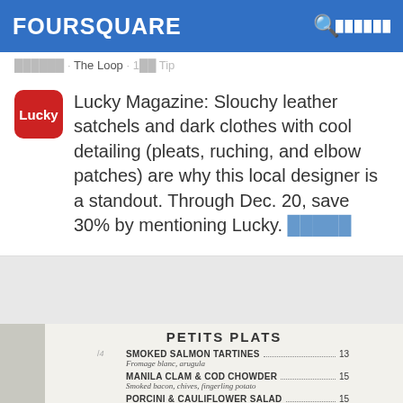FOURSQUARE
██████ · The Loop · 1██ Tip
Lucky Magazine: Slouchy leather satchels and dark clothes with cool detailing (pleats, ruching, and elbow patches) are why this local designer is a standout. Through Dec. 20, save 30% by mentioning Lucky. █████
[Figure (photo): Menu photo showing PETITS PLATS section with items: SMOKED SALMON TARTINES (Fromage blanc, arugula) 13, MANILA CLAM & COD CHOWDER (Smoked bacon, chives, fingerling potato) 15, PORCINI & CAULIFLOWER SALAD 15]